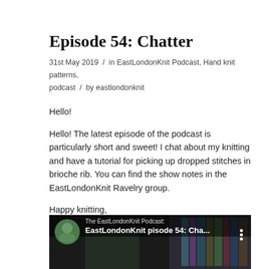Episode 54: Chatter
31st May 2019 / in EastLondonKnit Podcast, Hand knit patterns, podcast / by eastlondonknit
Hello!
Hello! The latest episode of the podcast is particularly short and sweet! I chat about my knitting and have a tutorial for picking up dropped stitches in brioche rib. You can find the show notes in the EastLondonKnit Ravelry group.
Happy knitting,
Rx
[Figure (screenshot): Video thumbnail for The EastLondonKnit Podcast: EastLondonKnit pisode 54: Cha... with circular avatar and three-dot menu]